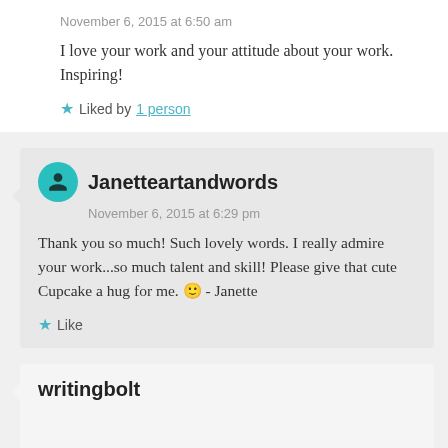November 6, 2015 at 6:50 am
I love your work and your attitude about your work. Inspiring!
★ Liked by 1 person
Janetteartandwords
November 6, 2015 at 6:29 pm
Thank you so much! Such lovely words. I really admire your work...so much talent and skill! Please give that cute Cupcake a hug for me. 🙂 - Janette
★ Like
writingbolt